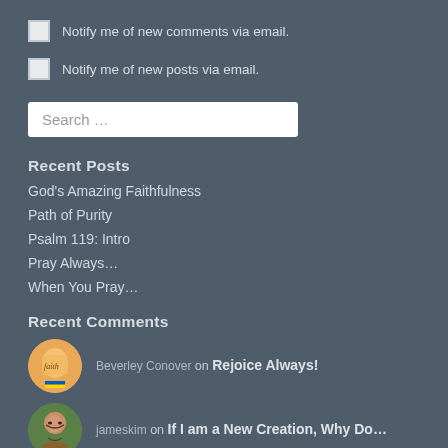Notify me of new comments via email.
Notify me of new posts via email.
Search …
Recent Posts
God's Amazing Faithfulness
Path of Purity
Psalm 119: Intro
Pray Always…
When You Pray…
Recent Comments
Beverley Conover on Rejoice Always!
jameskim on If I am a New Creation, Why Do…